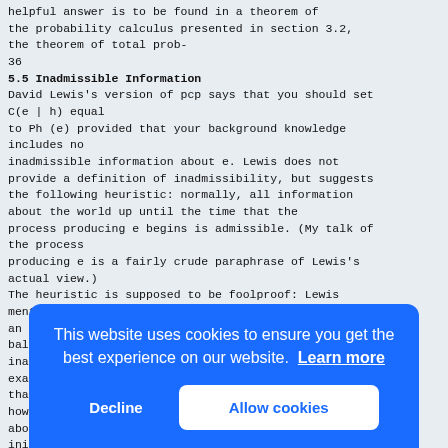helpful answer is to be found in a theorem of the probability calculus presented in section 3.2, the theorem of total prob-
36
5.5 Inadmissible Information
David Lewis's version of pcp says that you should set C(e | h) equal to Ph (e) provided that your background knowledge includes no inadmissible information about e. Lewis does not provide a definition of inadmissibility, but suggests the following heuristic: normally, all information about the world up until the time that the process producing e begins is admissible. (My talk of the process producing e is a fairly crude paraphrase of Lewis's actual view.) The heuristic is supposed to be foolproof: Lewis mentions, as an exception, the fact that a reading from a crystal ball predicting whether or not e occurs is inad... exam... than... howe... abou... init... poin... thes... defi... evid... Ph (... is not contained
This website uses cookies to ensure you get the best experience on our website.  Learn more
Decline
Allow cookies